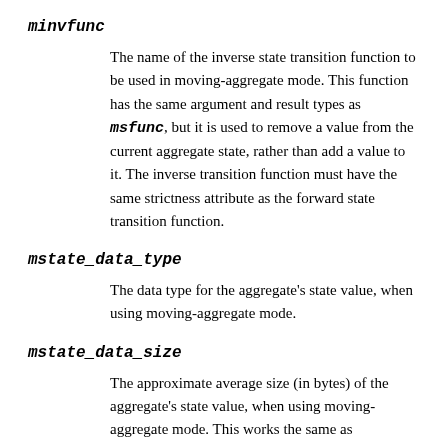minvfunc
The name of the inverse state transition function to be used in moving-aggregate mode. This function has the same argument and result types as msfunc, but it is used to remove a value from the current aggregate state, rather than add a value to it. The inverse transition function must have the same strictness attribute as the forward state transition function.
mstate_data_type
The data type for the aggregate's state value, when using moving-aggregate mode.
mstate_data_size
The approximate average size (in bytes) of the aggregate's state value, when using moving-aggregate mode. This works the same as